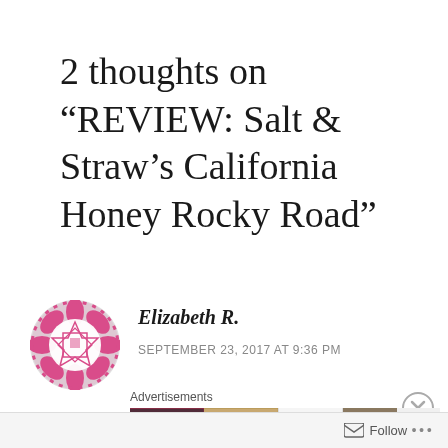2 thoughts on “REVIEW: Salt & Straw’s California Honey Rocky Road”
[Figure (logo): Pink decorative geometric flower/star avatar icon for commenter Elizabeth R.]
Elizabeth R.
SEPTEMBER 23, 2017 AT 9:36 PM
[Figure (screenshot): ULTA beauty advertisement banner showing close-up makeup images with SHOP NOW text]
Follow